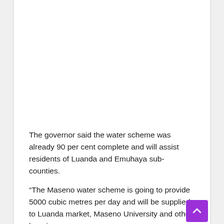The governor said the water scheme was already 90 per cent complete and will assist residents of Luanda and Emuhaya sub-counties.
“The Maseno water scheme is going to provide 5000 cubic metres per day and will be supplied to Luanda market, Maseno University and other learning